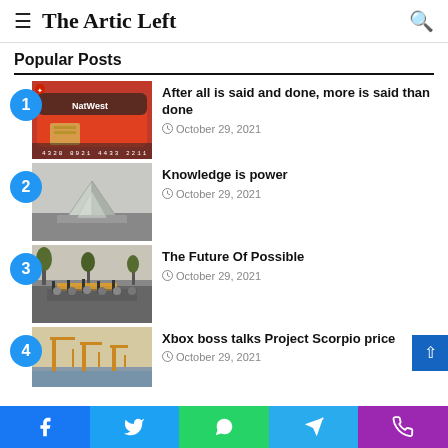The Artic Left
Popular Posts
After all is said and done, more is said than done — October 29, 2021
Knowledge is power — October 29, 2021
The Future Of Possible — October 29, 2021
Xbox boss talks Project Scorpio price — October 29, 2021